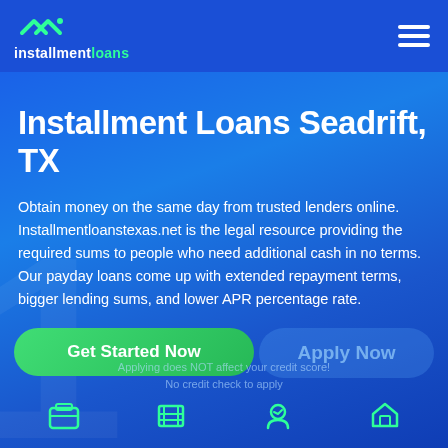installmentloans
Installment Loans Seadrift, TX
Obtain money on the same day from trusted lenders online. Installmentloanstexas.net is the legal resource providing the required sums to people who need additional cash in no terms. Our payday loans come up with extended repayment terms, bigger lending sums, and lower APR percentage rate.
Get Started Now
Apply Now
Applying does NOT affect your credit score!
No credit check to apply